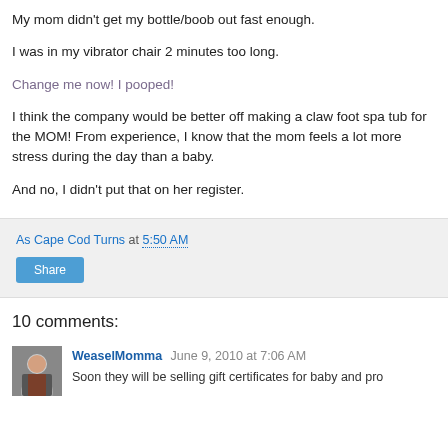My mom didn't get my bottle/boob out fast enough.
I was in my vibrator chair 2 minutes too long.
Change me now! I pooped!
I think the company would be better off making a claw foot spa tub for the MOM! From experience, I know that the mom feels a lot more stress during the day than a baby.
And no, I didn't put that on her register.
As Cape Cod Turns at 5:50 AM
Share
10 comments:
WeaselMomma June 9, 2010 at 7:06 AM
Soon they will be selling gift certificates for baby and pro